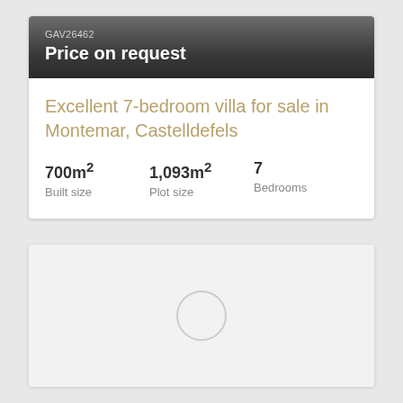GAV26462
Price on request
Excellent 7-bedroom villa for sale in Montemar, Castelldefels
700m²
Built size
1,093m²
Plot size
7
Bedrooms
[Figure (other): Placeholder image area with a light gray background and a circular loading/placeholder icon in the center]